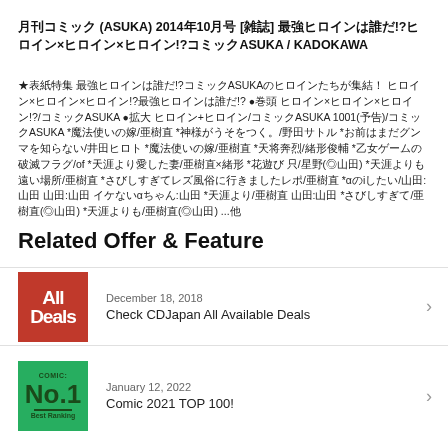月刊コミック (ASUKA) 2014年10月号 [雑誌] 最強ヒロインは誰だ!?ヒロイン×ヒロイン×ヒロイン!?コミックASUKA / KADOKAWA
★表紙特集 最強ヒロインは誰だ!?コミックASUKAのヒロインたちが集結！ ヒロイン×ヒロイン×ヒロイン!?最強ヒロインは誰だ!? ●巻頭 ヒロイン×ヒロイン×ヒロイン!?/コミックASUKA ●拡大 ヒロイン+ヒロイン/コミックASUKA 1001(予告)/コミックASUKA *魔法使いの嫁/亜樹直 *神様がうそをつく。/野田サトル *お前はまだグンマを知らない/井田ヒロト *魔法使いの嫁/亜樹直 *天将奔烈/緒形俊輔 *乙女ゲームの破滅フラグ/of *天涯より愛した妻/亜樹直×緒形 *花遊び 只/星野(◎山田) *天涯よりも遠い場所/亜樹直 *さびしすぎてレズ風俗に行きましたレポ/亜樹直 *αのiしたい/山田:山田 山田:山田 イケないαちゃん:山田 *天涯より/亜樹直 山田:山田 *さびしすぎて/亜樹直(◎山田) *天涯よりも/亜樹直(◎山田) ...他
Related Offer & Feature
December 18, 2018
Check CDJapan All Available Deals
January 12, 2022
Comic 2021 TOP 100!